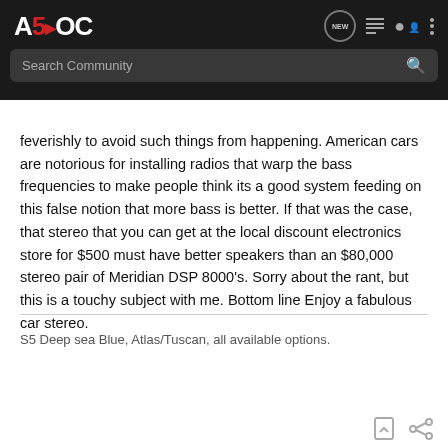A5OC — Search Community
feverishly to avoid such things from happening. American cars are notorious for installing radios that warp the bass frequencies to make people think its a good system feeding on this false notion that more bass is better. If that was the case, that stereo that you can get at the local discount electronics store for $500 must have better speakers than an $80,000 stereo pair of Meridian DSP 8000's. Sorry about the rant, but this is a touchy subject with me. Bottom line Enjoy a fabulous car stereo.
S5 Deep sea Blue, Atlas/Tuscan, all available options.